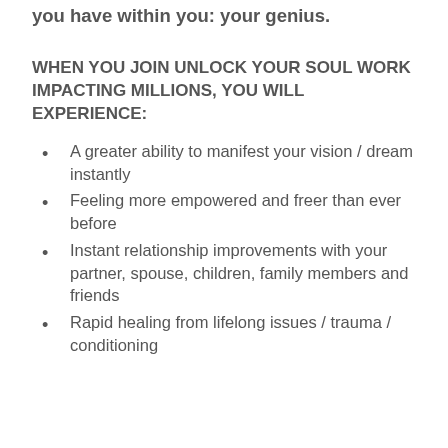you have within you: your genius.
WHEN YOU JOIN UNLOCK YOUR SOUL WORK IMPACTING MILLIONS, YOU WILL EXPERIENCE:
A greater ability to manifest your vision / dream instantly
Feeling more empowered and freer than ever before
Instant relationship improvements with your partner, spouse, children, family members and friends
Rapid healing from lifelong issues / trauma / conditioning